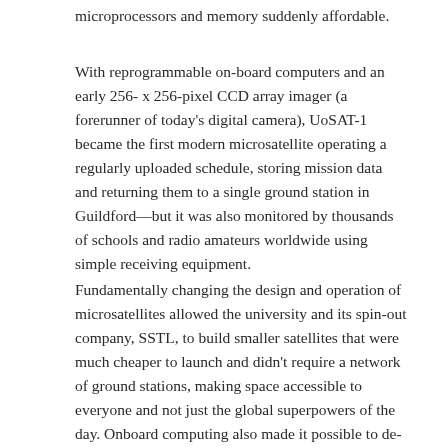microprocessors and memory suddenly affordable.
With reprogrammable on-board computers and an early 256- x 256-pixel CCD array imager (a forerunner of today's digital camera), UoSAT-1 became the first modern microsatellite operating a regularly uploaded schedule, storing mission data and returning them to a single ground station in Guildford—but it was also monitored by thousands of schools and radio amateurs worldwide using simple receiving equipment.
Fundamentally changing the design and operation of microsatellites allowed the university and its spin-out company, SSTL, to build smaller satellites that were much cheaper to launch and didn't require a network of ground stations, making space accessible to everyone and not just the global superpowers of the day. Onboard computing also made it possible to de-risk systems, using software to reconfigure systems in